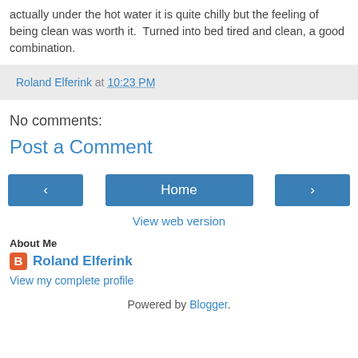actually under the hot water it is quite chilly but the feeling of being clean was worth it.  Turned into bed tired and clean, a good combination.
Roland Elferink at 10:23 PM
No comments:
Post a Comment
[Figure (other): Navigation buttons: left arrow, Home, right arrow]
View web version
About Me
Roland Elferink
View my complete profile
Powered by Blogger.